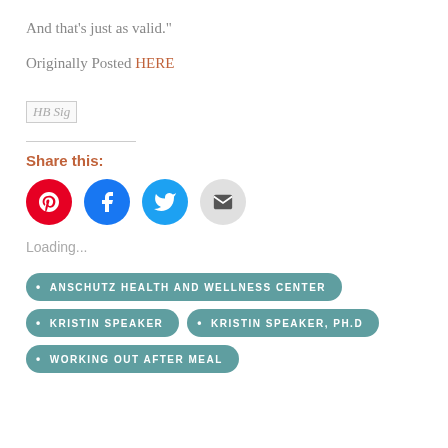And that’s just as valid.”
Originally Posted HERE
[Figure (other): HB Sig image placeholder]
Share this:
[Figure (infographic): Four social share buttons: Pinterest (red), Facebook (blue), Twitter (light blue), Email (grey)]
Loading...
ANSCHUTZ HEALTH AND WELLNESS CENTER
KRISTIN SPEAKER
KRISTIN SPEAKER, PH.D
WORKING OUT AFTER MEAL